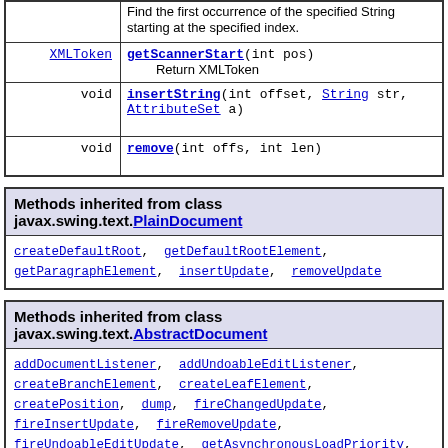| Return Type | Method |
| --- | --- |
|  | Find the first occurrence of the specified String starting at the specified index. |
| XMLToken | getScannerStart(int pos)
Return XMLToken |
| void | insertString(int offset, String str, AttributeSet a) |
| void | remove(int offs, int len) |
| Methods inherited from class javax.swing.text.PlainDocument |
| --- |
| createDefaultRoot, getDefaultRootElement, getParagraphElement, insertUpdate, removeUpdate |
| Methods inherited from class javax.swing.text.AbstractDocument |
| --- |
| addDocumentListener, addUndoableEditListener, createBranchElement, createLeafElement, createPosition, dump, fireChangedUpdate, fireInsertUpdate, fireRemoveUpdate, fireUndoableEditUpdate, getAsynchronousLoadPriority, getAttributeContext, getBidiRootElement, getContent, getCurrentWriter, getDocumentFilter, |